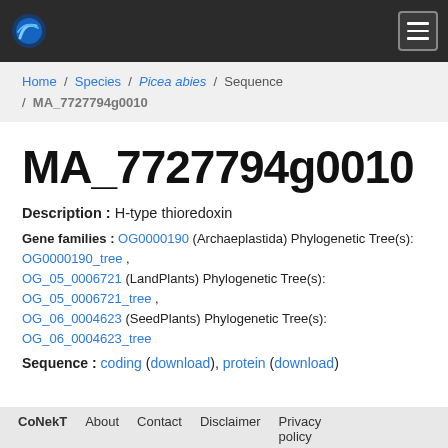CoNekT [logo] [hamburger menu]
Home / Species / Picea abies / Sequence / MA_7727794g0010
MA_7727794g0010
Description : H-type thioredoxin
Gene families : OG0000190 (Archaeplastida) Phylogenetic Tree(s): OG0000190_tree , OG_05_0006721 (LandPlants) Phylogenetic Tree(s): OG_05_0006721_tree , OG_06_0004623 (SeedPlants) Phylogenetic Tree(s): OG_06_0004623_tree
Sequence : coding (download), protein (download)
CoNekT  About  Contact  Disclaimer  Privacy policy